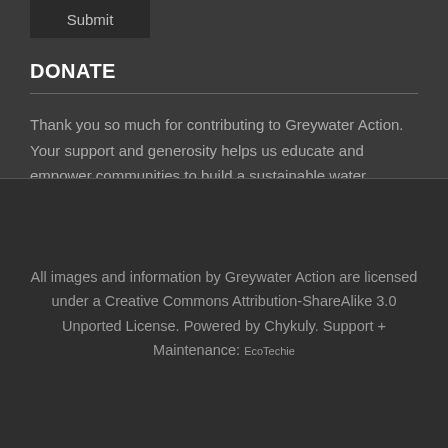[Figure (screenshot): Submit button at top of page, dark styled button with text 'Submit']
DONATE
Thank you so much for contributing to Greywater Action. Your support and generosity helps us educate and empower communities to build a sustainable water culture.
[Figure (screenshot): Donate button, dark styled button with text 'Donate']
All images and information by Greywater Action are licensed under a Creative Commons Attribution-ShareAlike 3.0 Unported License. Powered by Chykuly. Support + Maintenance: EcoTechie